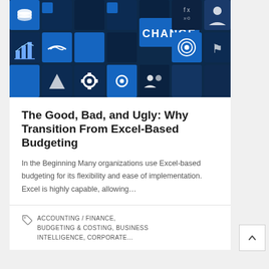[Figure (photo): Dark blue keyboard-tile hero image with various business and technology icons including a handshake, bar chart, gears, and the word CHANGE prominently displayed in white on a blue tile]
The Good, Bad, and Ugly: Why Transition From Excel-Based Budgeting
In the Beginning Many organizations use Excel-based budgeting for its flexibility and ease of implementation. Excel is highly capable, allowing…
ACCOUNTING / FINANCE, BUDGETING & COSTING, BUSINESS INTELLIGENCE, CORPORATE…